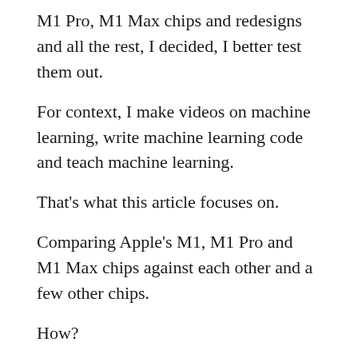M1 Pro, M1 Max chips and redesigns and all the rest, I decided, I better test them out.
For context, I make videos on machine learning, write machine learning code and teach machine learning.
That's what this article focuses on.
Comparing Apple's M1, M1 Pro and M1 Max chips against each other and a few other chips.
How?
Four tests:
Final Cut Pro Export – How fast can the